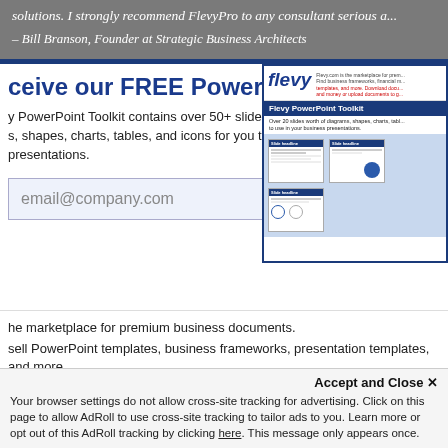solutions. I strongly recommend FlevyPro to any consultant serious a...
– Bill Branson, Founder at Strategic Business Architects
Receive our FREE PowerPoint Toolkit
Flevy PowerPoint Toolkit contains over 50+ slides worth of diagrams, shapes, charts, tables, and icons for you to use in your presentations.
[Figure (screenshot): Screenshot of Flevy website showing the Flevy PowerPoint Toolkit promotional image with logo, description, and sample slides]
Flevy.com is the marketplace for premium business documents.
Buy and sell PowerPoint templates, business frameworks, presentation templates, and more.
Accept and Close ✕
Your browser settings do not allow cross-site tracking for advertising. Click on this page to allow AdRoll to use cross-site tracking to tailor ads to you. Learn more or opt out of this AdRoll tracking by clicking here. This message only appears once.